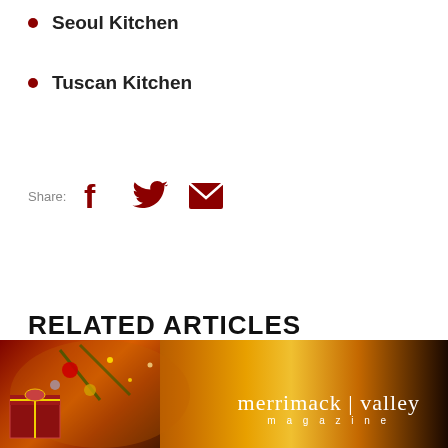Seoul Kitchen
Tuscan Kitchen
Share:
RELATED ARTICLES
[Figure (photo): Merrimack Valley magazine cover image — Christmas scene with ornaments, gifts and warm fireplace glow, with merrimack|valley magazine logo overlay]